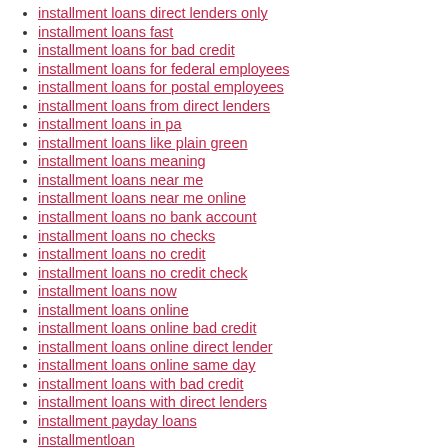installment loans direct lenders only
installment loans fast
installment loans for bad credit
installment loans for federal employees
installment loans for postal employees
installment loans from direct lenders
installment loans in pa
installment loans like plain green
installment loans meaning
installment loans near me
installment loans near me online
installment loans no bank account
installment loans no checks
installment loans no credit
installment loans no credit check
installment loans now
installment loans online
installment loans online bad credit
installment loans online direct lender
installment loans online same day
installment loans with bad credit
installment loans with direct lenders
installment payday loans
installmentloan
installmentloansindiana.net Online Installment Loan